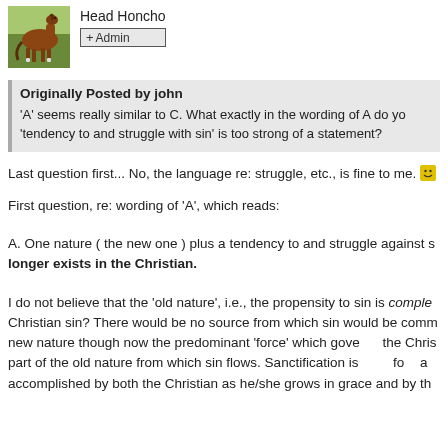Head Honcho
+ Admin
Originally Posted by john
'A' seems really similar to C. What exactly in the wording of A do you... 'tendency to and struggle with sin' is too strong of a statement?
Last question first... No, the language re: struggle, etc., is fine to me. 😊
First question, re: wording of 'A', which reads:
A. One nature ( the new one ) plus a tendency to and struggle against s... longer exists in the Christian.
I do not believe that the 'old nature', i.e., the propensity to sin is comple... Christian sin? There would be no source from which sin would be comm... new nature though now the predominant 'force' which governs the Chris... part of the old nature from which sin flows. Sanctification is therefore a... accomplished by both the Christian as he/she grows in grace and by the...